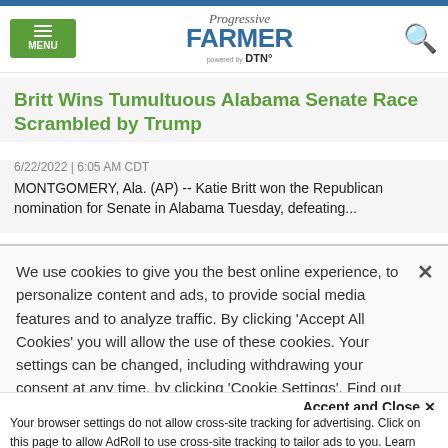Progressive Farmer powered by DTN
Britt Wins Tumultuous Alabama Senate Race Scrambled by Trump
6/22/2022 | 6:05 AM CDT
MONTGOMERY, Ala. (AP) -- Katie Britt won the Republican nomination for Senate in Alabama Tuesday, defeating...
We use cookies to give you the best online experience, to personalize content and ads, to provide social media features and to analyze traffic. By clicking 'Accept All Cookies' you will allow the use of these cookies. Your settings can be changed, including withdrawing your consent at any time, by clicking 'Cookie Settings'. Find out more on how we and third parties use cookies in our Cookie Policy
Accept and Close ×
Your browser settings do not allow cross-site tracking for advertising. Click on this page to allow AdRoll to use cross-site tracking to tailor ads to you. Learn more or opt out of this AdRoll tracking by clicking here. This message only appears once.